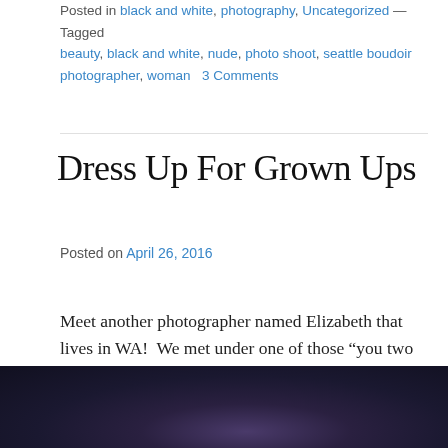Posted in black and white, photography, Uncategorized — Tagged beauty, black and white, nude, photo shoot, seattle boudoir photographer, woman   3 Comments
Dress Up For Grown Ups
Posted on April 26, 2016
Meet another photographer named Elizabeth that lives in WA!  We met under one of those “you two should meet” situations and we got together to shoot on Sunday.  She’s a cosplayer, and let me tell you…SO well armed with wigs, fun contacts, every color of eyeshadow ever, etc.  Girl knows how to play dress up like a champ!
[Figure (photo): Partial photo of a woman with purple/blue hair against a dark teal background, cropped at the bottom of the page.]